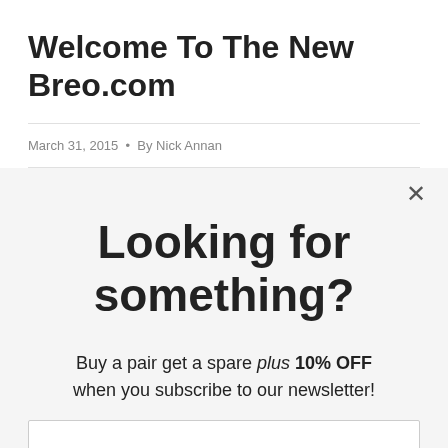Welcome To The New Breo.com
March 31, 2015 • By Nick Annan
Looking for something?
Buy a pair get a spare plus 10% OFF when you subscribe to our newsletter!